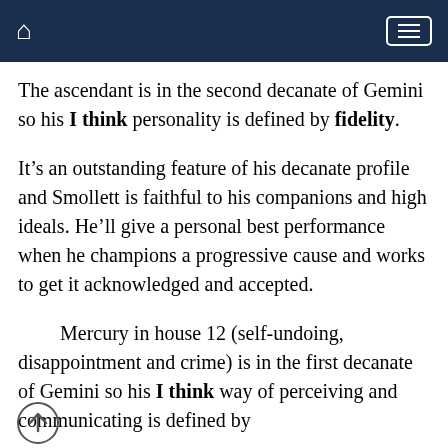Home | Menu
The ascendant is in the second decanate of Gemini so his I think personality is defined by fidelity.
It’s an outstanding feature of his decanate profile and Smollett is faithful to his companions and high ideals. He’ll give a personal best performance when he champions a progressive cause and works to get it acknowledged and accepted.
Mercury in house 12 (self-undoing, disappointment and crime) is in the first decanate of Gemini so his I think way of perceiving and communicating is defined by